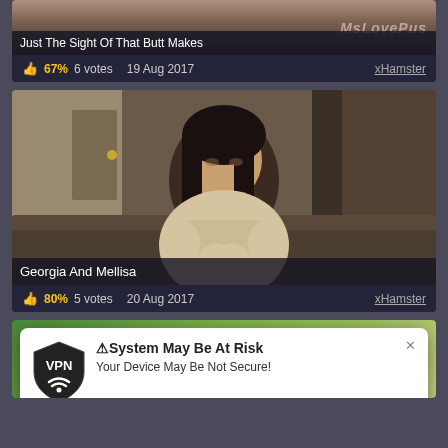[Figure (screenshot): Partial video thumbnail at top showing a cropped scene]
Just The Sight Of That Butt Makes
67% 6 votes   19 Aug 2017   xHamster
[Figure (screenshot): Video thumbnail showing a young woman with dark hair seated indoors]
Georgia And Mellisa
80% 5 votes   20 Aug 2017   xHamster
[Figure (screenshot): Partial video thumbnail at bottom showing outdoor scene]
[Figure (infographic): VPN popup overlay: System May Be At Risk - Your Device May Be Not Secure!]